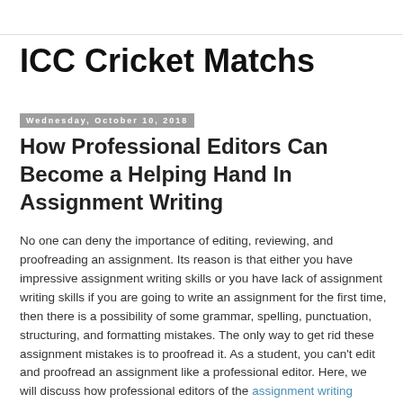ICC Cricket Matchs
Wednesday, October 10, 2018
How Professional Editors Can Become a Helping Hand In Assignment Writing
No one can deny the importance of editing, reviewing, and proofreading an assignment. Its reason is that either you have impressive assignment writing skills or you have lack of assignment writing skills if you are going to write an assignment for the first time, then there is a possibility of some grammar, spelling, punctuation, structuring, and formatting mistakes. The only way to get rid these assignment mistakes is to proofread it. As a student, you can't edit and proofread an assignment like a professional editor. Here, we will discuss how professional editors of the assignment writing services can become a helping hand in assignment writing.